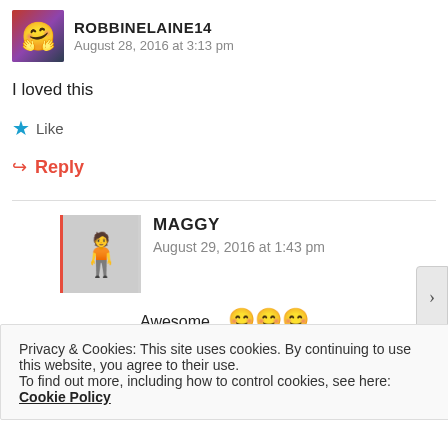[Figure (photo): User avatar photo of ROBBINELAINE14 - small profile picture]
ROBBINELAINE14
August 28, 2016 at 3:13 pm
I loved this
Like
Reply
[Figure (photo): User avatar photo of MAGGY - profile picture with red left border]
MAGGY
August 29, 2016 at 1:43 pm
Privacy & Cookies: This site uses cookies. By continuing to use this website, you agree to their use.
To find out more, including how to control cookies, see here: Cookie Policy
Close and accept